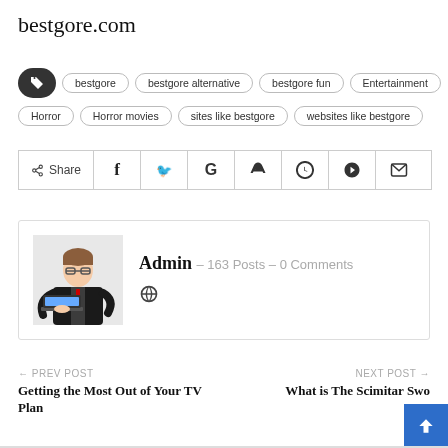bestgore.com
bestgore | bestgore alternative | bestgore fun | Entertainment | Horror | Horror movies | sites like bestgore | websites like bestgore
Share (Facebook, Twitter, Google, Reddit, WhatsApp, Pinterest, Email)
Admin – 163 Posts – 0 Comments
← PREV POST
Getting the Most Out of Your TV Plan
NEXT POST →
What is The Scimitar Swo